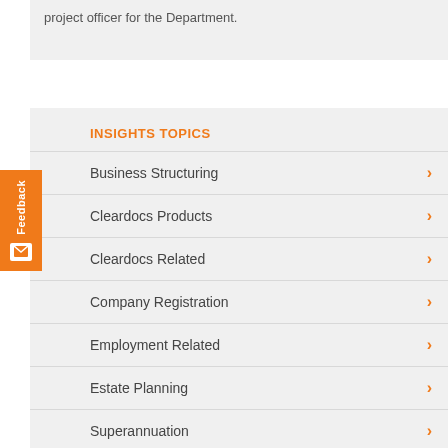project officer for the Department.
INSIGHTS TOPICS
Business Structuring
Cleardocs Products
Cleardocs Related
Company Registration
Employment Related
Estate Planning
Superannuation
Tax (Legislation And Law)
Trusts